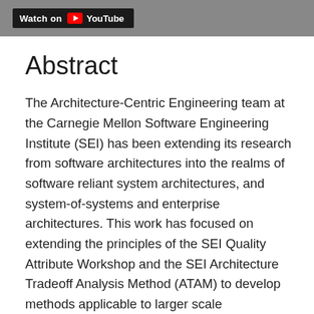[Figure (screenshot): YouTube 'Watch on YouTube' badge/button on a dark gray header bar]
Abstract
The Architecture-Centric Engineering team at the Carnegie Mellon Software Engineering Institute (SEI) has been extending its research from software architectures into the realms of software reliant system architectures, and system-of-systems and enterprise architectures. This work has focused on extending the principles of the SEI Quality Attribute Workshop and the SEI Architecture Tradeoff Analysis Method (ATAM) to develop methods applicable to larger scale architectures. We believe that enterprise architecture is critical to achieving business goals and that architectures are shaped by quality attribute requirements. So in this presentation we consider the following questions: How do we efficiently translate business goals into quality attribute requirements? How do we ensure that